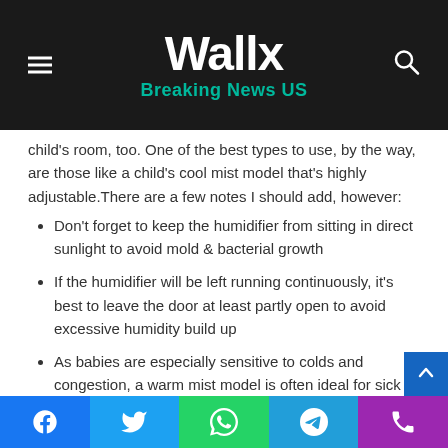Wallx — Breaking News US
child's room, too. One of the best types to use, by the way, are those like a child's cool mist model that's highly adjustable.There are a few notes I should add, however:
Don't forget to keep the humidifier from sitting in direct sunlight to avoid mold & bacterial growth
If the humidifier will be left running continuously, it's best to leave the door at least partly open to avoid excessive humidity build up
As babies are especially sensitive to colds and congestion, a warm mist model is often ideal for sick babies
Facebook | Twitter | WhatsApp | Telegram | Phone